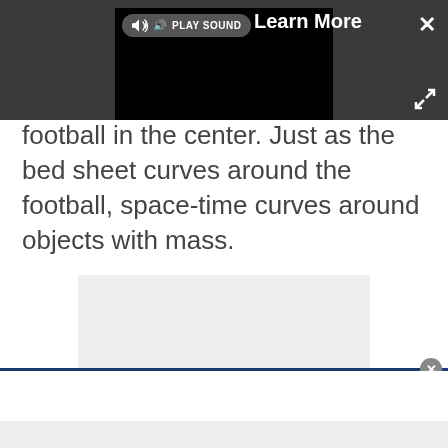[Figure (screenshot): Dark gray media player bar at top with a video player (black rectangle), a 'PLAY SOUND' button with speaker icon, a 'Learn More' label, a close (X) button, and an expand/fullscreen icon.]
football in the center. Just as the bed sheet curves around the football, space-time curves around objects with mass.
[Figure (other): Light gray advertisement placeholder box with 'Advertisement' label at top.]
[Figure (other): Bottom overlay bar with blue top border and a circular close button (X).]